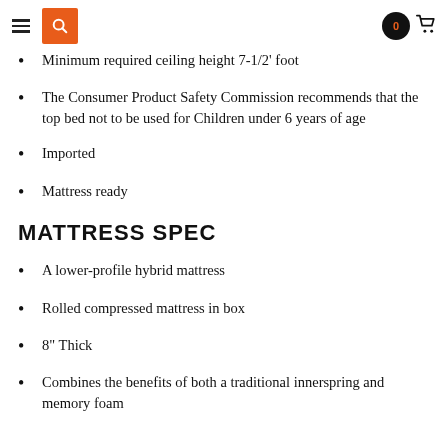Navigation header with hamburger menu, search button, cart badge (0), and cart icon
Minimum required ceiling height 7-1/2' foot
The Consumer Product Safety Commission recommends that the top bed not to be used for Children under 6 years of age
Imported
Mattress ready
MATTRESS SPEC
A lower-profile hybrid mattress
Rolled compressed mattress in box
8" Thick
Combines the benefits of both a traditional innerspring and memory foam